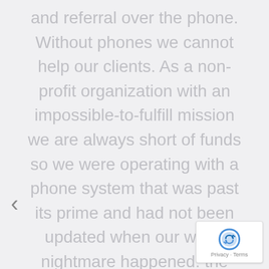and referral over the phone. Without phones we cannot help our clients. As a non-profit organization with an impossible-to-fulfill mission we are always short of funds so we were operating with a phone system that was past its prime and had not been updated when our worst nightmare happened: the system failed suddenly without warning. Enter Pilothouse to the rescue. After a day and a half of analysis, replacement of critical parts and a little technological magic we